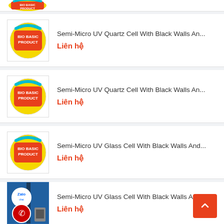[Figure (screenshot): Partial product card at top, showing bottom portion of a Bio Basic Product logo image]
Semi-Micro UV Quartz Cell With Black Walls An... Liên hệ
Semi-Micro UV Quartz Cell With Black Walls An... Liên hệ
Semi-Micro UV Glass Cell With Black Walls And... Liên hệ
Semi-Micro UV Glass Cell With Black Walls And... Liên hệ